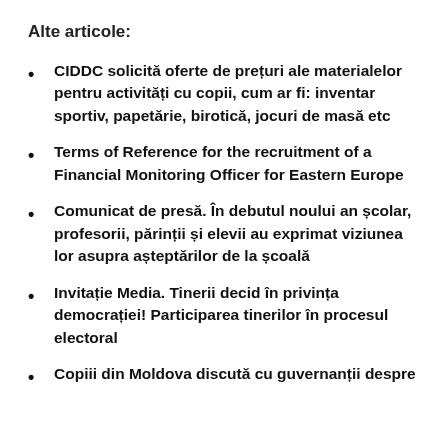Alte articole:
CIDDC solicită oferte de prețuri ale materialelor pentru activități cu copii, cum ar fi: inventar sportiv, papetărie, birotică, jocuri de masă etc
Terms of Reference for the recruitment of a Financial Monitoring Officer for Eastern Europe
Comunicat de presă. În debutul noului an școlar, profesorii, părinții și elevii au exprimat viziunea lor asupra așteptărilor de la școală
Invitație Media. Tinerii decid în privința democrației! Participarea tinerilor în procesul electoral
Copiii din Moldova discută cu guvernanții despre